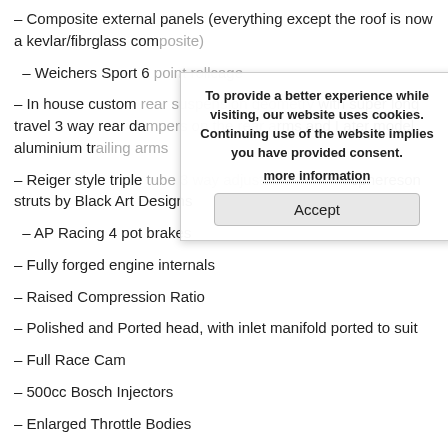– Composite external panels (everything except the roof is now a kevlar/fibrglass composite)
– Weichers Sport 6 point rollcage
– In house custom rear suspension geometry with super long travel 3 way rear dampers on the rear arms and Later model aluminium trailing arms
– Reiger style triple tube 3 way adjustable front macphereson struts by Black Art Designs
– AP Racing 4 pot brakes
– Fully forged engine internals
– Raised Compression Ratio
– Polished and Ported head, with inlet manifold ported to suit
– Full Race Cam
– 500cc Bosch Injectors
– Enlarged Throttle Bodies
– Garrett GTX28 Turbo